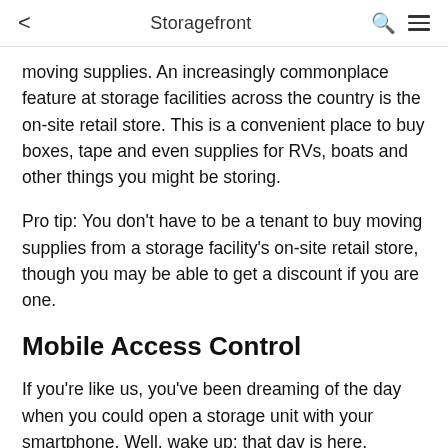< Storagefront 🔍 ☰
moving supplies. An increasingly commonplace feature at storage facilities across the country is the on-site retail store. This is a convenient place to buy boxes, tape and even supplies for RVs, boats and other things you might be storing.
Pro tip: You don't have to be a tenant to buy moving supplies from a storage facility's on-site retail store, though you may be able to get a discount if you are one.
Mobile Access Control
If you're like us, you've been dreaming of the day when you could open a storage unit with your smartphone. Well, wake up; that day is here.